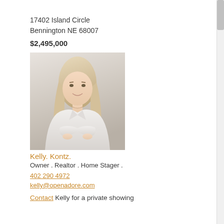17402 Island Circle
Bennington NE 68007
$2,495,000
[Figure (photo): Professional headshot of a blonde woman in a white blazer with arms crossed, smiling, against a light background]
Kelly. Kontz.
Owner . Realtor . Home Stager .
402 290 4972
kelly@openadore.com
Contact Kelly for a private showing